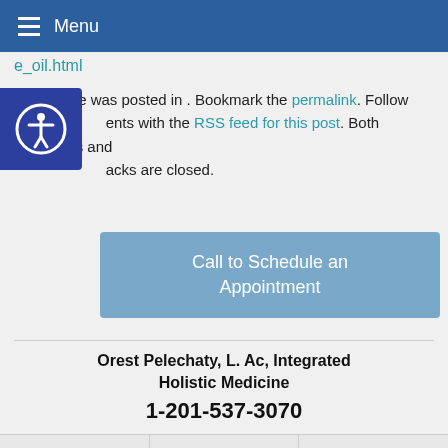Menu
e_oil.html
This article was posted in . Bookmark the permalink. Follow comments with the RSS feed for this post. Both comments and trackbacks are closed.
Call to Schedule an Appointment
Orest Pelechaty, L. Ac, Integrated Holistic Medicine
1-201-537-3070
1-201-537-3070   Directions   Contact/Schedule